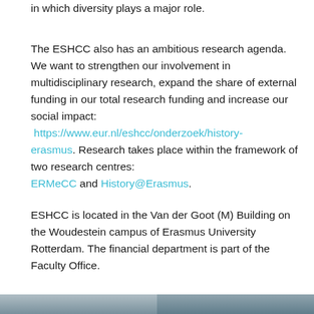in which diversity plays a major role.
The ESHCC also has an ambitious research agenda. We want to strengthen our involvement in multidisciplinary research, expand the share of external funding in our total research funding and increase our social impact: https://www.eur.nl/eshcc/onderzoek/history-erasmus. Research takes place within the framework of two research centres: ERMeCC and History@Erasmus.
ESHCC is located in the Van der Goot (M) Building on the Woudestein campus of Erasmus University Rotterdam. The financial department is part of the Faculty Office.
[Figure (photo): Partial view of two photos/images at the bottom of the page, cropped.]